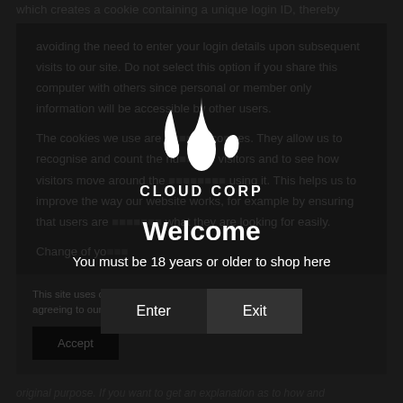which creates a cookie containing a unique login ID, thereby avoiding the need to enter your login details upon subsequent visits to our site. Do not select this option if you share this computer with others since personal or member only information will be accessible by other users.
The cookies we use are analytical cookies. They allow us to recognise and count the number of visitors and to see how visitors move around the site when they are using it. This helps us to improve the way our website works, for example by ensuring that users are finding what they are looking for easily.
Change of purpose...
This site uses cookies. By continuing to use this site you are agreeing to our use of cookies.
[Figure (logo): Cloud Corp logo with three water droplets above brand name]
Welcome
You must be 18 years or older to shop here
Enter
Exit
Accept
original purpose. If you want to get an explanation as to how and...